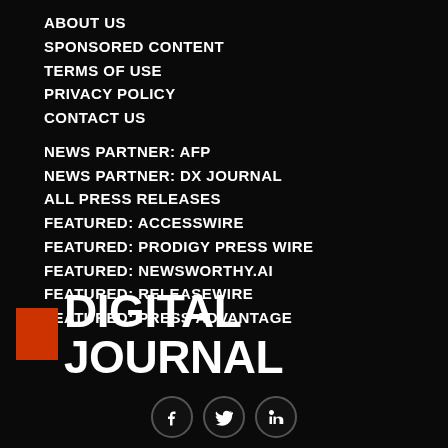ABOUT US
SPONSORED CONTENT
TERMS OF USE
PRIVACY POLICY
CONTACT US
NEWS PARTNER: AFP
NEWS PARTNER: DX JOURNAL
ALL PRESS RELEASES
FEATURED: ACCESSWIRE
FEATURED: PRODIGY PRESS WIRE
FEATURED: NEWSWORTHY.AI
FEATURED: RELEASEWIRE
FEATURED: PRESS ADVANTAGE
[Figure (logo): Digital Journal logo with orange rectangle and white bold text]
[Figure (infographic): Social media icons: Facebook, Twitter, LinkedIn in circular borders]